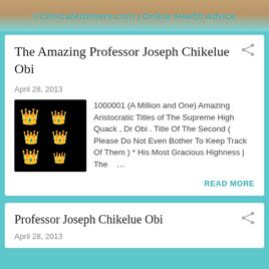©ClinicalAdvisers.com | Online Health Advice
The Amazing Professor Joseph Chikelue Obi
April 28, 2013
[Figure (photo): Black background with gold crown emoji icons arranged in a 2x3 grid]
1000001 (A Million and One) Amazing Aristocratic Titles of The Supreme High Quack , Dr Obi . Title Of The Second ( Please Do Not Even Bother To Keep Track Of Them ) * His Most Gracious Highness | The …
READ MORE
Professor Joseph Chikelue Obi
April 28, 2013